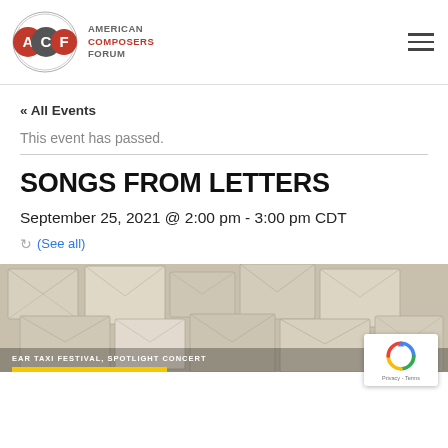[Figure (logo): American Composers Forum (ACF) logo with three overlapping circles containing letters A, C, F and organization name text]
« All Events
This event has passed.
SONGS FROM LETTERS
September 25, 2021 @ 2:00 pm - 3:00 pm CDT
(See all)
[Figure (photo): Photo of multiple envelopes/letters arranged in a collage pattern on a surface. Text overlay reads EAR TAXI FESTIVAL, SPOTLIGHT CONCERT with a yellow bar below.]